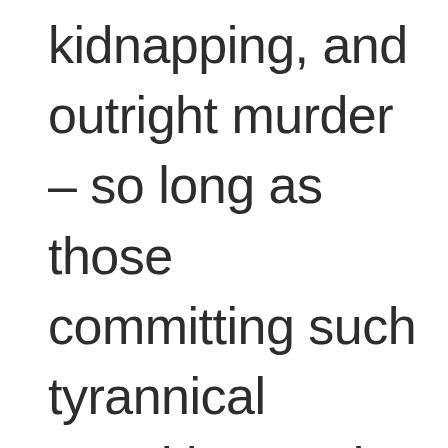kidnapping, and outright murder – so long as those committing such tyrannical atrocities are in the employ, at